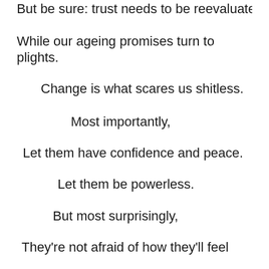But be sure: trust needs to be reevaluated
While our ageing promises turn to plights.
Change is what scares us shitless.
Most importantly,
Let them have confidence and peace.
Let them be powerless.
But most surprisingly,
They're not afraid of how they'll feel
When they come closer.